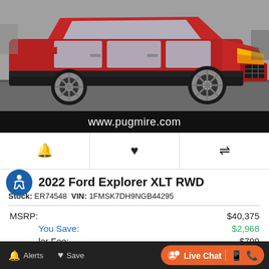[Figure (photo): Red 2022 Ford Explorer XLT RWD SUV photographed outdoors in a parking lot, front 3/4 view showing the driver side, with grey asphalt background.]
www.pugmire.com
[Figure (infographic): Row of three icon buttons: bell/alert icon, heart/favorite icon, and compare/arrows icon, separated by vertical dividers.]
2022 Ford Explorer XLT RWD
Stock: ER74548 VIN: 1FMSK7DH9NGB44295
MSRP: $40,375
You Save: $2,968
Dealer Fee: $799
Internet Price: $38,206
Alerts  Save  Live Chat